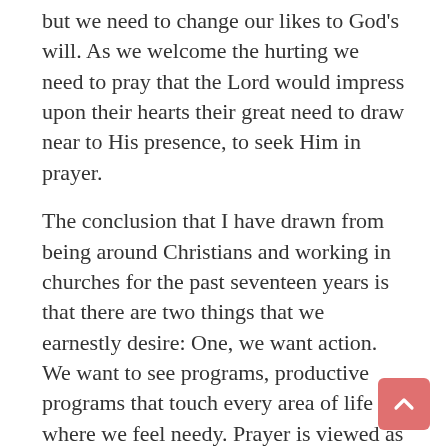but we need to change our likes to God's will. As we welcome the hurting we need to pray that the Lord would impress upon their hearts their great need to draw near to His presence, to seek Him in prayer.
The conclusion that I have drawn from being around Christians and working in churches for the past seventeen years is that there are two things that we earnestly desire: One, we want action. We want to see programs, productive programs that touch every area of life where we feel needy. Prayer is viewed as inactivity. We bow as churches in prayer and make our requests known to God only to rise up from prayer and try and figure out what we need to do to get out of the mess we are in. Secondly, we want a sanitized sanctuary filled with saintly men and women. We want children around, but just make sure they are the right kind of children. We want kids who come from good backgrounds, who dress in their Sunday best, can recite God's Word chapter and verse, and who believe in the philosophy that children are to be seen and not heard